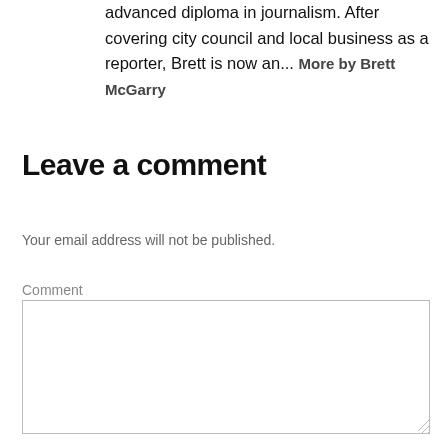advanced diploma in journalism. After covering city council and local business as a reporter, Brett is now an... More by Brett McGarry
Leave a comment
Your email address will not be published.
Comment
[Figure (other): Empty comment text area input box]